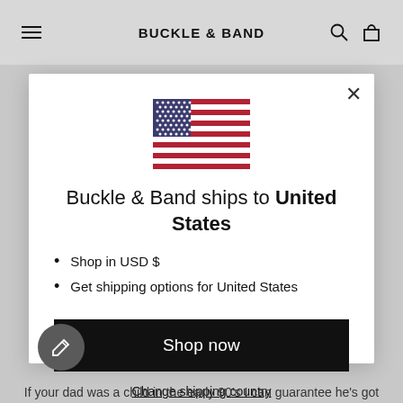BUCKLE & BAND
[Figure (illustration): US flag icon]
Buckle & Band ships to United States
Shop in USD $
Get shipping options for United States
Shop now
Change shipping country
If your dad was a child in the early 90's I can guarantee he's got